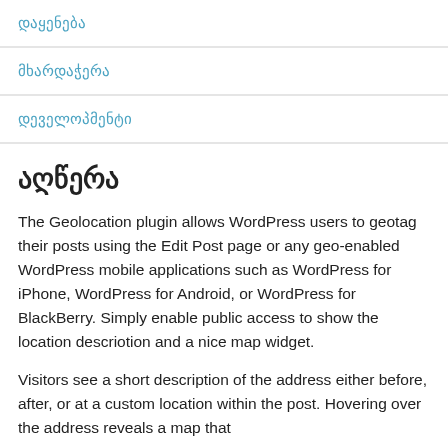დაყენება
მხარდაჭერა
დეველოპმენტი
აღწერა
The Geolocation plugin allows WordPress users to geotag their posts using the Edit Post page or any geo-enabled WordPress mobile applications such as WordPress for iPhone, WordPress for Android, or WordPress for BlackBerry. Simply enable public access to show the location descriotion and a nice map widget.
Visitors see a short description of the address either before, after, or at a custom location within the post. Hovering over the address reveals a map that